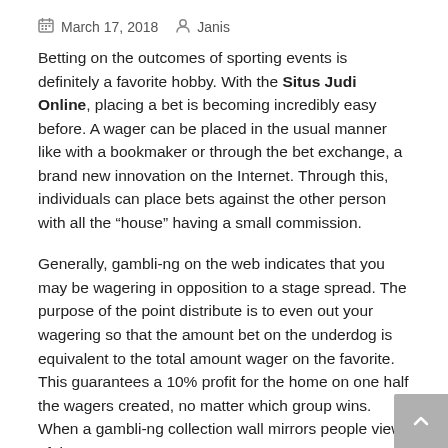March 17, 2018   Janis
Betting on the outcomes of sporting events is definitely a favorite hobby. With the Situs Judi Online, placing a bet is becoming incredibly easy before. A wager can be placed in the usual manner like with a bookmaker or through the bet exchange, a brand new innovation on the Internet. Through this, individuals can place bets against the other person with all the “house” having a small commission.
Generally, gambli-ng on the web indicates that you may be wagering in opposition to a stage spread. The purpose of the point distribute is to even out your wagering so that the amount bet on the underdog is equivalent to the total amount wager on the favorite. This guarantees a 10% profit for the home on one half the wagers created, no matter which group wins. When a gambli-ng collection wall mirrors people view of these